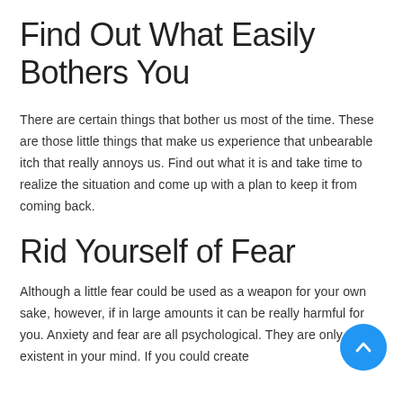Find Out What Easily Bothers You
There are certain things that bother us most of the time. These are those little things that make us experience that unbearable itch that really annoys us. Find out what it is and take time to realize the situation and come up with a plan to keep it from coming back.
Rid Yourself of Fear
Although a little fear could be used as a weapon for your own sake, however, if in large amounts it can be really harmful for you. Anxiety and fear are all psychological. They are only existent in your mind. If you could create